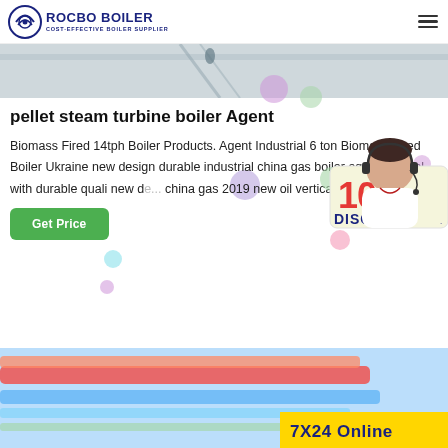ROCBO BOILER - COST-EFFECTIVE BOILER SUPPLIER
[Figure (photo): Top banner image showing boiler or industrial equipment in light gray tones]
pellet steam turbine boiler Agent
Biomass Fired 14tph Boiler Products. Agent Industrial 6 ton Biomass Fired Boiler Ukraine new design durable industrial china gas boiler agent Vertical with durable quali new design china gas 2019 new oil vertical steam tph natur...
[Figure (infographic): 10% DISCOUNT promotional banner with decorative bubbles and customer service representative]
[Figure (photo): Bottom image showing industrial boiler pipes and equipment in blue, orange colors with 7X24 Online text overlay]